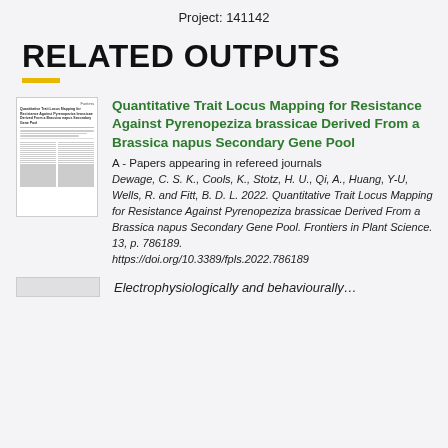Project: 141142
RELATED OUTPUTS
[Figure (other): Thumbnail of journal article page for Quantitative Trait Locus Mapping for Resistance Against Pyrenopeziza brassicae Derived From a Brassica napus Secondary Gene Pool]
Quantitative Trait Locus Mapping for Resistance Against Pyrenopeziza brassicae Derived From a Brassica napus Secondary Gene Pool
A - Papers appearing in refereed journals
Dewage, C. S. K., Cools, K., Stotz, H. U., Qi, A., Huang, Y-U, Wells, R. and Fitt, B. D. L. 2022. Quantitative Trait Locus Mapping for Resistance Against Pyrenopeziza brassicae Derived From a Brassica napus Secondary Gene Pool. Frontiers in Plant Science. 13, p. 786189.
https://doi.org/10.3389/fpls.2022.786189